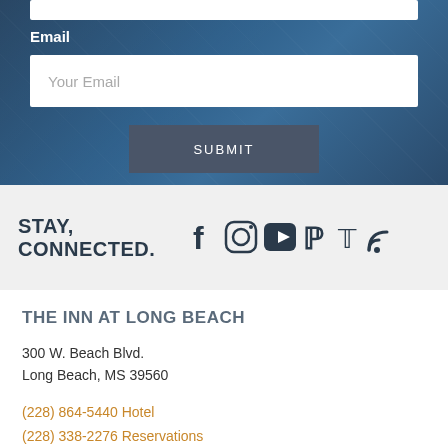Email
Your Email
SUBMIT
STAY, CONNECTED.
[Figure (infographic): Social media icons: Facebook, Instagram, YouTube, Pinterest, Twitter, RSS feed]
THE INN AT LONG BEACH
300 W. Beach Blvd.
Long Beach, MS 39560
(228) 864-5440 Hotel
(228) 338-2276 Reservations